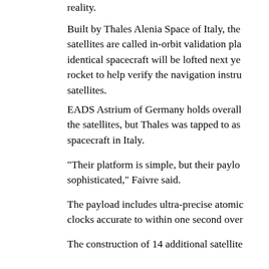reality.
Built by Thales Alenia Space of Italy, the satellites are called in-orbit validation pla identical spacecraft will be lofted next ye rocket to help verify the navigation instru satellites.
EADS Astrium of Germany holds overall the satellites, but Thales was tapped to as spacecraft in Italy.
"Their platform is simple, but their paylo sophisticated," Faivre said.
The payload includes ultra-precise atomic clocks accurate to within one second over
The construction of 14 additional satellite operational capability spacecraft, has bee European Commission, the EU's executiv
Antonio Tajani, the European Commissio industry and entrepreneurship, said a tenc and eight more Galileo satellites will reac 1, when a winning contractor will be anno